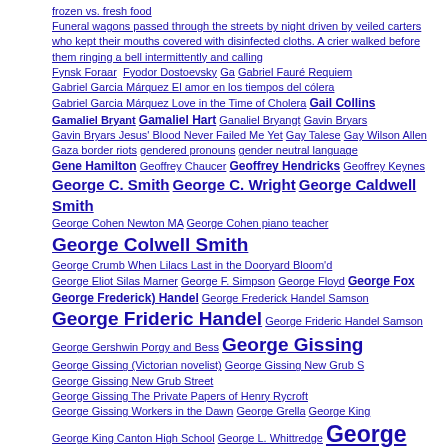frozen vs. fresh food
Funeral wagons passed through the streets by night driven by veiled carters who kept their mouths covered with disinfected cloths. A crier walked before them ringing a bell intermittently and calling
Fynsk Foraar  Fyodor Dostoevsky  Ga  Gabriel Fauré Requiem
Gabriel Garcia Márquez El amor en los tiempos del cólera
Gabriel Garcia Márquez Love in the Time of Cholera  Gail Collins
Gamaliel Bryant  Gamaliel Hart  Ganaliel Bryangt  Gavin Bryars
Gavin Bryars Jesus' Blood Never Failed Me Yet  Gay Talese  Gay Wilson Allen
Gaza border riots  gendered pronouns  gender neutral language
Gene Hamilton  Geoffrey Chaucer  Geoffrey Hendricks  Geoffrey Keynes
George C. Smith  George C. Wright  George Caldwell Smith
George Cohen Newton MA  George Cohen piano teacher
George Colwell Smith
George Crumb When Lilacs Last in the Dooryard Bloom'd
George Eliot Silas Marner  George F. Simpson  George Floyd  George Fox
George Frederick) Handel  George Frederick Handel Samson
George Frideric Handel  George Frideric Handel Samson
George Gershwin Porgy and Bess  George Gissing
George Gissing (Victorian novelist)  George Gissing New Grub S
George Gissing New Grub Street
George Gissing The Private Papers of Henry Rycroft
George Gissing Workers in the Dawn  George Grella  George King
George King Canton High School  George L. Whittredge  George Orwell
George Orwell "Such Such Were the Joys"  George Orwell 1984
George Orwell Keep the Aphrodista Flying
George Orwell Nineteen Eighty-Four  George Shinn  Georg eW
George W. Calhoun  George W. Moulton  George Washington
George Washington Moulton  George Whittredge  George William Calhoun
George Wither  Georg Friedrich Handel  Gerhard Oppitz
Germs love the indoors — the perfect incubator for them.
Gesundheit Institute  Gilbert Murray  Gilbert T. Sewall